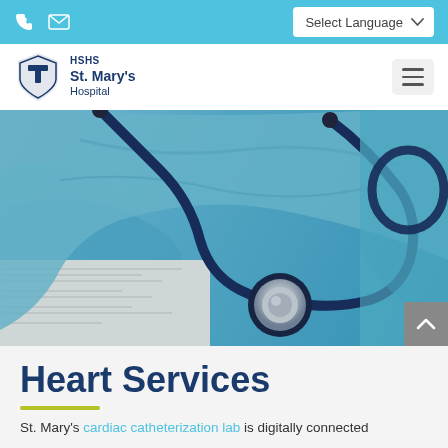Phone | Email | Select Language
[Figure (logo): HSHS St. Mary's Hospital logo with blue shield icon and text]
[Figure (photo): Blue surgical scrubs and stethoscope resting on medical paperwork]
Heart Services
St. Mary's cardiac catheterization lab is digitally connected